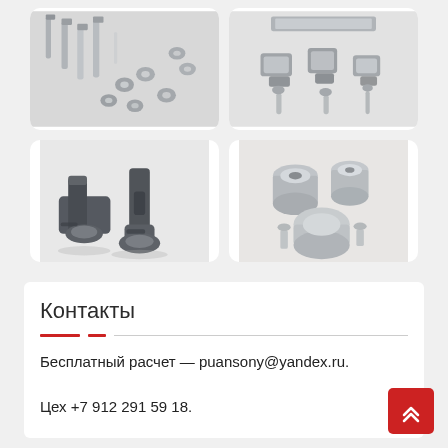[Figure (photo): Top-left: collection of shiny metal bolts, screws, and nuts arranged together]
[Figure (photo): Top-right: assorted small metal press/punch die components on a flat surface]
[Figure (photo): Bottom-left: two dark grey punch tool heads/holders with mounting collars]
[Figure (photo): Bottom-right: several cylindrical zinc/chrome plated metal bushings and spacers]
Контакты
Бесплатный расчет — puansony@yandex.ru.
Цех +7 912 291 59 18.